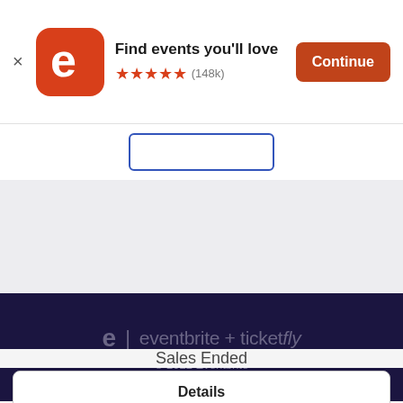[Figure (screenshot): Eventbrite app install banner with orange 'e' logo icon, text 'Find events you'll love', five orange stars rating, (148k) reviews, and an orange 'Continue' button. Below is a partial blue-outlined button, a grey empty area, a dark navy footer with Eventbrite + Ticketfly logo and '© 2022 Eventbrite', then a white section with 'Sales Ended' text and a 'Details' button.]
Find events you'll love
(148k)
Continue
© 2022 Eventbrite
Sales Ended
Details